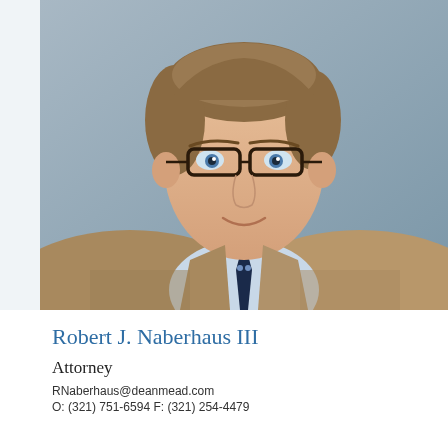[Figure (photo): Professional headshot of Robert J. Naberhaus III, a middle-aged man with short brown/gray hair, wearing glasses, a tan houndstooth blazer, light blue checkered shirt, and dark navy polka-dot tie, photographed against a gray background.]
Robert J. Naberhaus III
Attorney
RNaberhaus@deanmead.com
O: (321) 751-6594 F: (321) 254-4479